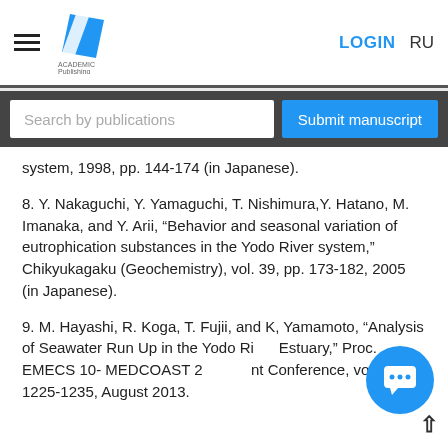LOGIN  RU
Search by publications
Submit manuscript
system, 1998, pp. 144-174 (in Japanese).
8. Y. Nakaguchi, Y. Yamaguchi, T. Nishimura, Y. Hatano, M. Imanaka, and Y. Arii, “Behavior and seasonal variation of eutrophication substances in the Yodo River system,” Chikyukagaku (Geochemistry), vol. 39, pp. 173-182, 2005 (in Japanese).
9. M. Hayashi, R. Koga, T. Fujii, and K, Yamamoto, “Analysis of Seawater Run Up in the Yodo River Estuary,” Proc. EMECS 10- MEDCOAST 2013 Joint Conference, vol. 2, pp. 1225-1235, August 2013.